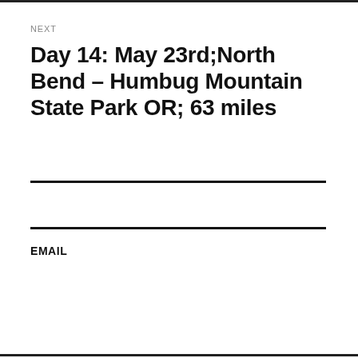NEXT
Day 14: May 23rd;North Bend – Humbug Mountain State Park OR; 63 miles
EMAIL
emiliekeane5@gmail.com